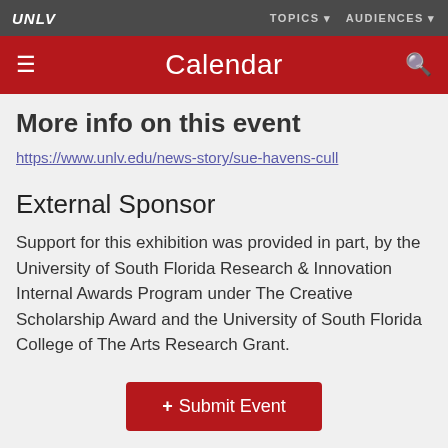UNLV | TOPICS ▼ AUDIENCES ▼
Calendar
More info on this event
https://www.unlv.edu/news-story/sue-havens-cull
External Sponsor
Support for this exhibition was provided in part, by the University of South Florida Research & Innovation Internal Awards Program under The Creative Scholarship Award and the University of South Florida College of The Arts Research Grant.
+ Submit Event